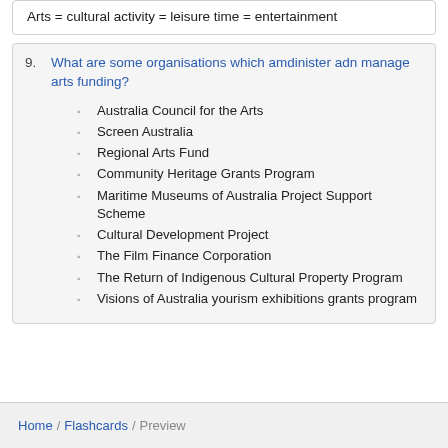Arts = cultural activity = leisure time = entertainment
9. What are some organisations which amdinister adn manage arts funding?
Australia Council for the Arts
Screen Australia
Regional Arts Fund
Community Heritage Grants Program
Maritime Museums of Australia Project Support Scheme
Cultural Development Project
The Film Finance Corporation
The Return of Indigenous Cultural Property Program
Visions of Australia yourism exhibitions grants program
Home / Flashcards / Preview